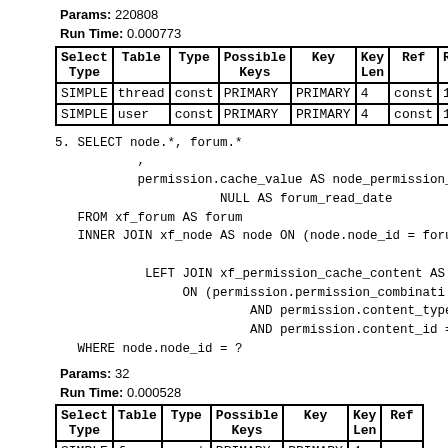Params: 220808
Run Time: 0.000773
| Select Type | Table | Type | Possible Keys | Key | Key Len | Ref | Ro |
| --- | --- | --- | --- | --- | --- | --- | --- |
| SIMPLE | thread | const | PRIMARY | PRIMARY | 4 | const | 1 |
| SIMPLE | user | const | PRIMARY | PRIMARY | 4 | const | 1 |
5. SELECT node.*, forum.*
           ,
           permission.cache_value AS node_permission_ca
                      NULL AS forum_read_date
   FROM xf_forum AS forum
   INNER JOIN xf_node AS node ON (node.node_id = forum

            LEFT JOIN xf_permission_cache_content AS pe
                 ON (permission.permission_combinati
                          AND permission.content_type
                          AND permission.content_id =
   WHERE node.node_id = ?
Params: 32
Run Time: 0.000528
| Select Type | Table | Type | Possible Keys | Key | Key Len | Ref |
| --- | --- | --- | --- | --- | --- | --- |
| SIMPLE | forum | const | PRIMARY | PRIMARY | 4 | cons |